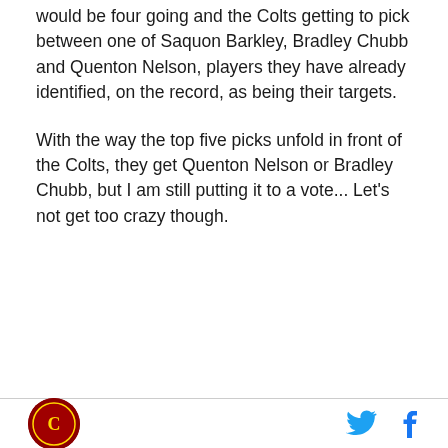would be four going and the Colts getting to pick between one of Saquon Barkley, Bradley Chubb and Quenton Nelson, players they have already identified, on the record, as being their targets.
With the way the top five picks unfold in front of the Colts, they get Quenton Nelson or Bradley Chubb, but I am still putting it to a vote... Let's not get too crazy though.
[Figure (logo): Circular sports team logo with red background]
[Figure (illustration): Twitter bird icon in blue and Facebook 'f' icon in blue, social media sharing buttons]